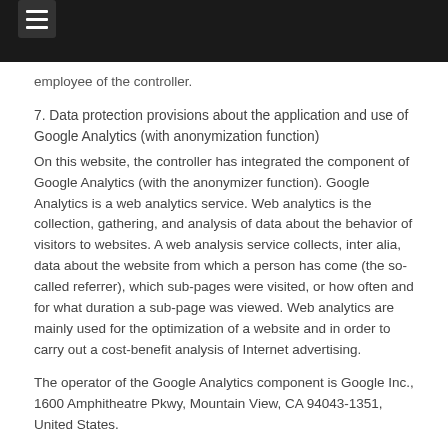employee of the controller.
7. Data protection provisions about the application and use of Google Analytics (with anonymization function)
On this website, the controller has integrated the component of Google Analytics (with the anonymizer function). Google Analytics is a web analytics service. Web analytics is the collection, gathering, and analysis of data about the behavior of visitors to websites. A web analysis service collects, inter alia, data about the website from which a person has come (the so-called referrer), which sub-pages were visited, or how often and for what duration a sub-page was viewed. Web analytics are mainly used for the optimization of a website and in order to carry out a cost-benefit analysis of Internet advertising.
The operator of the Google Analytics component is Google Inc., 1600 Amphitheatre Pkwy, Mountain View, CA 94043-1351, United States.
For the web analytics through Google Analytics the controller uses the application "_gat. _anonymizeIp". By means of this application the IP address of the Internet connection of the data subject is abridged by